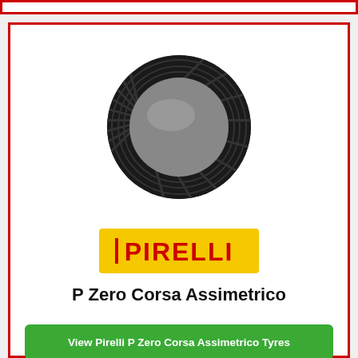[Figure (photo): Pirelli P Zero Corsa Assimetrico tyre with silver alloy wheel, angled view on white background]
[Figure (logo): Pirelli logo on yellow background with red text]
P Zero Corsa Assimetrico
View Pirelli P Zero Corsa Assimetrico Tyres
Prices from £358.50